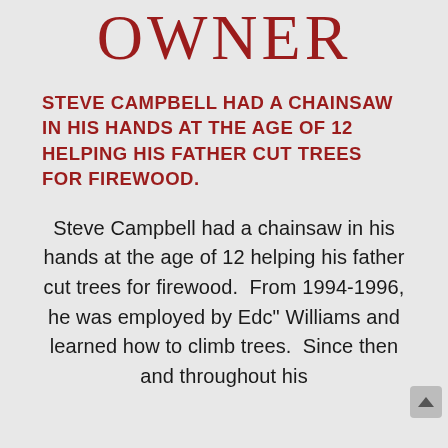OWNER
STEVE CAMPBELL HAD A CHAINSAW IN HIS HANDS AT THE AGE OF 12 HELPING HIS FATHER CUT TREES FOR FIREWOOD.
Steve Campbell had a chainsaw in his hands at the age of 12 helping his father cut trees for firewood.  From 1994-1996, he was employed by Edc" Williams and learned how to climb trees.  Since then and throughout his